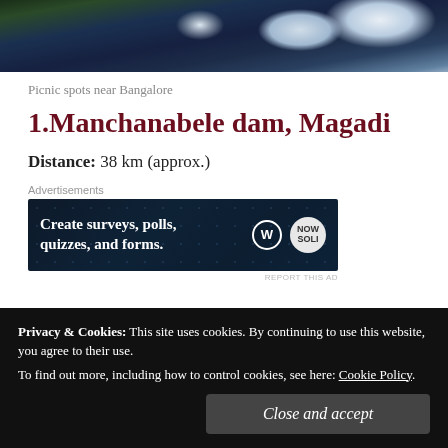[Figure (photo): Sky and clouds with trees visible in the corner, blue sky background]
Picnic spots near Bangalore
1.Manchanabele dam, Magadi
Distance: 38 km (approx.)
[Figure (screenshot): Advertisement banner: Create surveys, polls, quizzes, and forms. WordPress and now icons visible.]
Privacy & Cookies: This site uses cookies. By continuing to use this website, you agree to their use.
To find out more, including how to control cookies, see here: Cookie Policy
Close and accept
and the reservoirs were closed. We drove a little